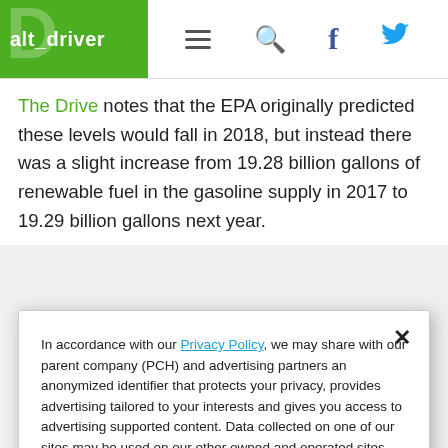alt_driver
The Drive notes that the EPA originally predicted these levels would fall in 2018, but instead there was a slight increase from 19.28 billion gallons of renewable fuel in the gasoline supply in 2017 to 19.29 billion gallons next year.
In accordance with our Privacy Policy, we may share with our parent company (PCH) and advertising partners an anonymized identifier that protects your privacy, provides advertising tailored to your interests and gives you access to advertising supported content. Data collected on one of our sites may be used on our other owned and operated sites, which sites are identified in our Privacy Policy. All of our sites are governed by the same Privacy Policy, and by proceeding to access this site, you are consenting to that Privacy Policy.